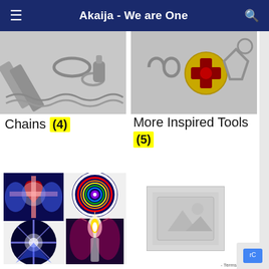Akaija - We are One
[Figure (photo): Product thumbnail showing silver chains and clasps for category Chains]
Chains (4)
[Figure (photo): Product thumbnails showing inspired jewelry tools including pendants and cross medallion]
More Inspired Tools (5)
[Figure (photo): Composite product thumbnail showing spiritual artwork images: heart cross, circular rainbow orb, energy figure, and circular energy burst for Reproductions category]
[Figure (photo): Placeholder image (no image available) for Uncategorised category]
Reproductions
Uncategorised